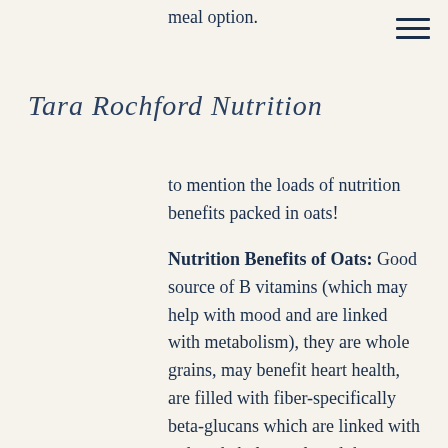meal option.
Tara Rochford Nutrition
to mention the loads of nutrition benefits packed in oats!
Nutrition Benefits of Oats: Good source of B vitamins (which may help with mood and are linked with metabolism), they are whole grains, may benefit heart health, are filled with fiber-specifically beta-glucans which are linked with reduced cholesterol, and they contain a ton of other vitamins and minerals.
I also love the versatility of oats in that I